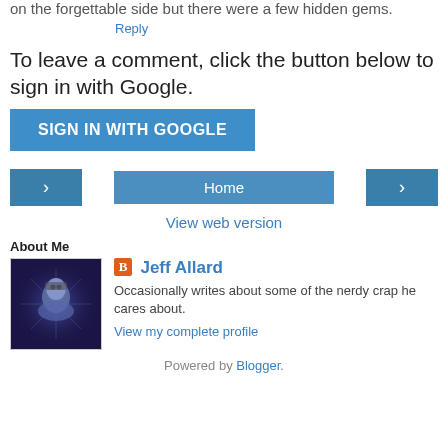on the forgettable side but there were a few hidden gems.
Reply
To leave a comment, click the button below to sign in with Google.
SIGN IN WITH GOOGLE
[Figure (infographic): Navigation bar with left arrow button, Home button, and right arrow button]
View web version
About Me
[Figure (photo): Profile photo of Jeff Allard — stylized sci-fi image of a person in helmet/armor against dark blue background with star-like lights]
Jeff Allard
Occasionally writes about some of the nerdy crap he cares about.
View my complete profile
Powered by Blogger.